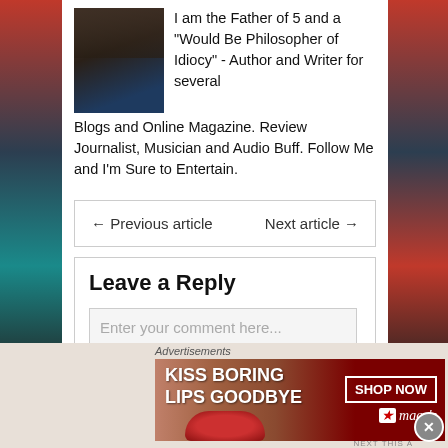[Figure (photo): Author photo: man with beard wearing blue shirt]
I am the Father of 5 and a "Would Be Philosopher of Idiocy" - Author and Writer for several Blogs and Online Magazine. Review Journalist, Musician and Audio Buff. Follow Me and I'm Sure to Entertain.
← Previous article    Next article →
Leave a Reply
Enter your comment here...
Advertisements
[Figure (photo): Macy's advertisement banner: KISS BORING LIPS GOODBYE with woman's lips, SHOP NOW button and Macy's star logo]